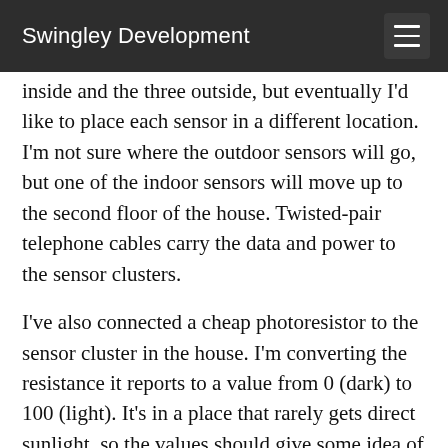Swingley Development
inside and the three outside, but eventually I'd like to place each sensor in a different location. I'm not sure where the outdoor sensors will go, but one of the indoor sensors will move up to the second floor of the house. Twisted-pair telephone cables carry the data and power to the sensor clusters.
I've also connected a cheap photoresistor to the sensor cluster in the house. I'm converting the resistance it reports to a value from 0 (dark) to 100 (light). It's in a place that rarely gets direct sunlight, so the values should give some idea of when the sun is up, and whether it's sunny or cloudy. I have a more sophisticated light sensor (TSL203R) and a barometric pressure sensor (SCP1000), but haven't tried them yet. I've run out of breadboards, and now